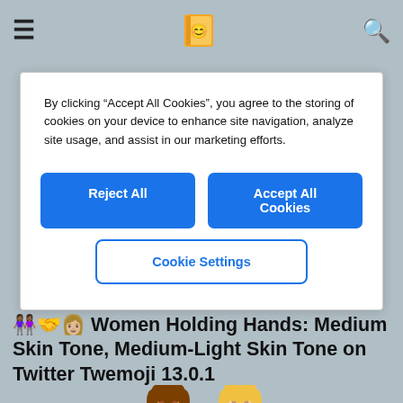Navigation bar with hamburger menu, emoji favicon logo, and search icon
By clicking “Accept All Cookies”, you agree to the storing of cookies on your device to enhance site navigation, analyze site usage, and assist in our marketing efforts.
Reject All | Accept All Cookies | Cookie Settings
👭🏾‍🤝‍👩🏼 Women Holding Hands: Medium Skin Tone, Medium-Light Skin Tone on Twitter Twemoji 13.0.1
[Figure (illustration): Two cartoon women emoji holding hands side by side. Left woman has medium brown skin tone, dark brown hair, pink top. Right woman has medium-light skin tone, blonde hair, purple top.]